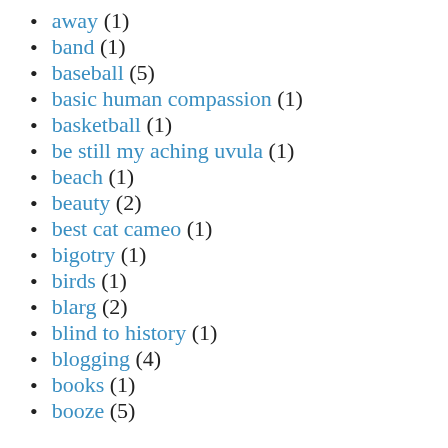away (1)
band (1)
baseball (5)
basic human compassion (1)
basketball (1)
be still my aching uvula (1)
beach (1)
beauty (2)
best cat cameo (1)
bigotry (1)
birds (1)
blarg (2)
blind to history (1)
blogging (4)
books (1)
booze (5)